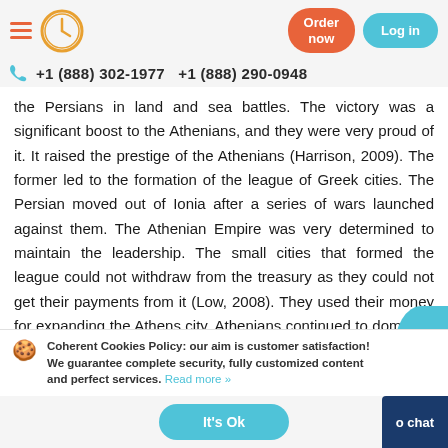Navigation header with hamburger menu, clock logo, Order now button, Log in button
+1 (888) 302-1977   +1 (888) 290-0948
the Persians in land and sea battles. The victory was a significant boost to the Athenians, and they were very proud of it. It raised the prestige of the Athenians (Harrison, 2009). The former led to the formation of the league of Greek cities. The Persian moved out of Ionia after a series of wars launched against them. The Athenian Empire was very determined to maintain the leadership. The small cities that formed the league could not withdraw from the treasury as they could not get their payments from it (Low, 2008). They used their money for expanding the Athens city. Athenians continued to dominate until
Coherent Cookies Policy: our aim is customer satisfaction! We guarantee complete security, fully customized content and perfect services. Read more »
It's Ok